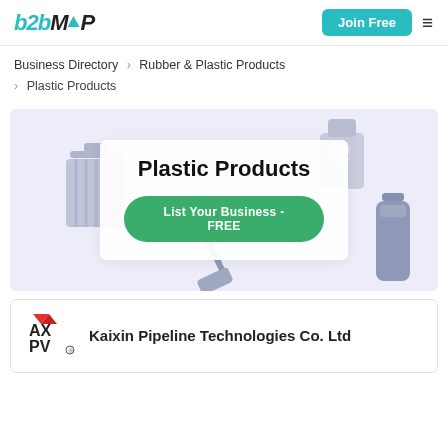b2bMAP | Join Free
Business Directory > Rubber & Plastic Products > Plastic Products
[Figure (illustration): Hero banner for Plastic Products category showing plastic objects (trash can, bottle, canister, brush) on a lavender background with overlay panel showing 'Plastic Products' title and 'List Your Business - FREE' green button]
Kaixin Pipeline Technologies Co. Ltd